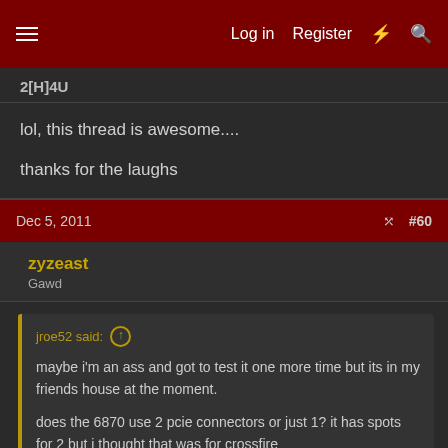Log in   Register   #60
2[H]4U
lol, this thread is awesome....

thanks for the laughs
Dec 5, 2011   #60
zyzeast
Gawd
jroe52 said:

maybe i'm an ass and got to test it one more time but its in my friends house at the moment.

does the 6870 use 2 pcie connectors or just 1? it has spots for 2 but i thought that was for crossfire